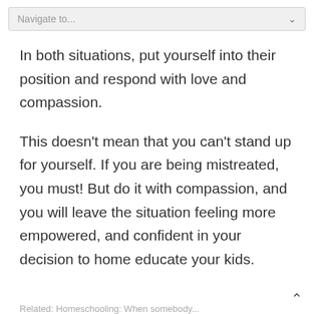Navigate to...
In both situations, put yourself into their position and respond with love and compassion.
This doesn't mean that you can't stand up for yourself. If you are being mistreated, you must! But do it with compassion, and you will leave the situation feeling more empowered, and confident in your decision to home educate your kids.